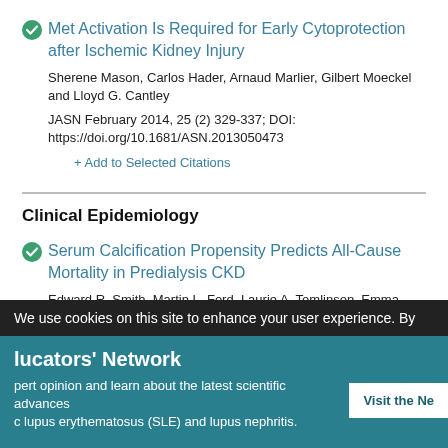Met Activation Is Required for Early Cytoprotection after Ischemic Kidney Injury
Sherene Mason, Carlos Hader, Arnaud Marlier, Gilbert Moeckel and Lloyd G. Cantley
JASN February 2014, 25 (2) 329-337; DOI: https://doi.org/10.1681/ASN.2013050473
+ Add to Selected Citations
Clinical Epidemiology
Serum Calcification Propensity Predicts All-Cause Mortality in Predialysis CKD
Edward R. Smith, Martin L. Ford, Laurie A. Tomlinson, Emma Bodenham, Lawrence P. McMahon, Stefan Farese, Chakravarthi Rajkumar, Stephen G. Holt and Andreas Pasch
We use cookies on this site to enhance your user experience. By
lucators' Network
pert opinion and learn about the latest scientific advances c lupus erythematosus (SLE) and lupus nephritis.
Visit the Ne